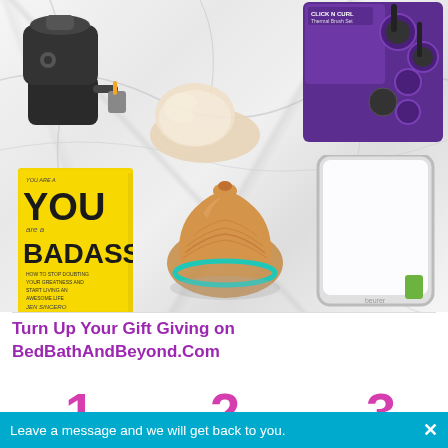[Figure (photo): Collage of gift items on marble background: juicer, slipper, hair brush set, You Are a Badass book, wood-grain diffuser with teal light ring, light therapy tablet device]
Turn Up Your Gift Giving on BedBathAndBeyond.Com
[Figure (photo): Number 1 in pink/purple with a pink product thumbnail below]
[Figure (photo): Number 2 in pink/purple]
[Figure (photo): Number 3 in pink/purple with a clear glass product below]
Leave a message and we will get back to you.